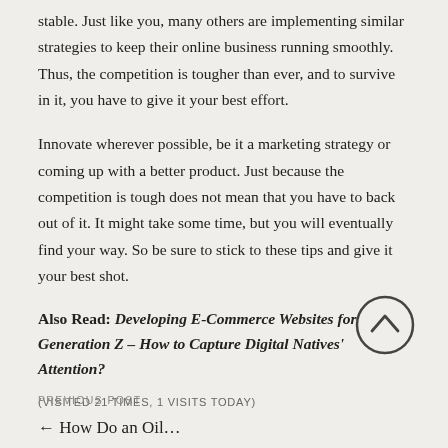stable. Just like you, many others are implementing similar strategies to keep their online business running smoothly. Thus, the competition is tougher than ever, and to survive in it, you have to give it your best effort.
Innovate wherever possible, be it a marketing strategy or coming up with a better product. Just because the competition is tough does not mean that you have to back out of it. It might take some time, but you will eventually find your way. So be sure to stick to these tips and give it your best shot.
Also Read: Developing E-Commerce Websites for Generation Z – How to Capture Digital Natives' Attention?
(VISITED 21 TIMES, 1 VISITS TODAY)
[Figure (other): Scroll to top button — a circle with an upward chevron arrow]
PREVIOUS POST
← How Do an Oil...